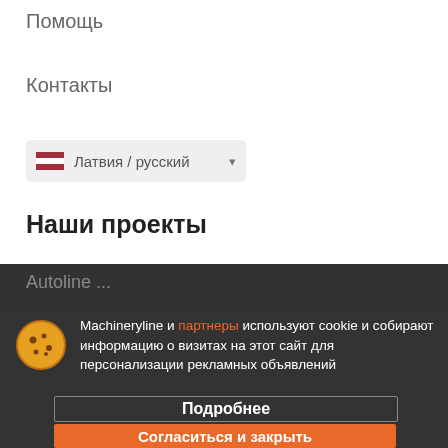Помощь
Контакты
[Figure (screenshot): Language selector button showing Latvian flag and text 'Латвия / русский' with dropdown arrow]
Наши проекты
Autoline...
Machineryline...
Agriline...
Machineryline и партнеры используют cookie и собирают информацию о визитах на этот сайт для персонализации рекламных объявлений
Подробнее
Согласиться и закрыть